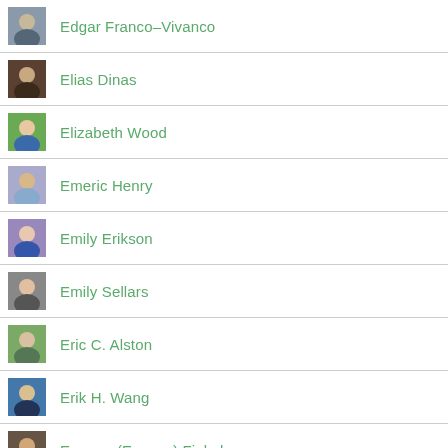Edgar Franco-Vivanco
Elias Dinas
Elizabeth Wood
Emeric Henry
Emily Erikson
Emily Sellars
Eric C. Alston
Erik H. Wang
Eugene (Evgeny) Finkel